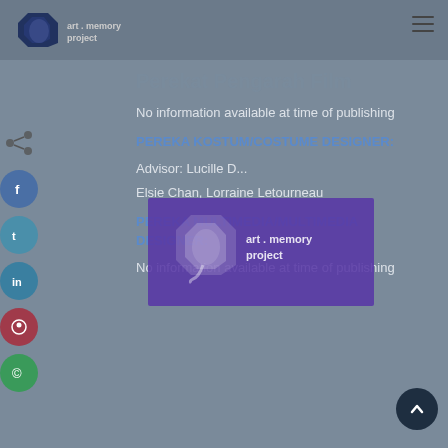[Figure (logo): Art Memory Project logo with elephant illustration and text 'art memory project']
No information available at time of publishing
PEREKA KOSTUM/COSTUME DESIGNER:
Advisor: Lucille D...
Elsie Chan, Lorraine Letourneau
PEREKA MULTIMEDIA/MULTIMEDIA DESIGNER:
No information available at time of publishing